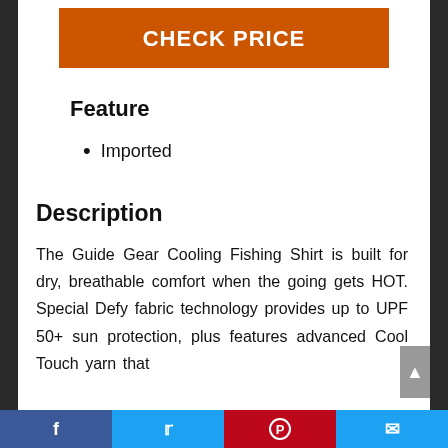CHECK PRICE
Feature
Imported
Description
The Guide Gear Cooling Fishing Shirt is built for dry, breathable comfort when the going gets HOT. Special Defy fabric technology provides up to UPF 50+ sun protection, plus features advanced Cool Touch yarn that
Facebook | Twitter | Pinterest | Email